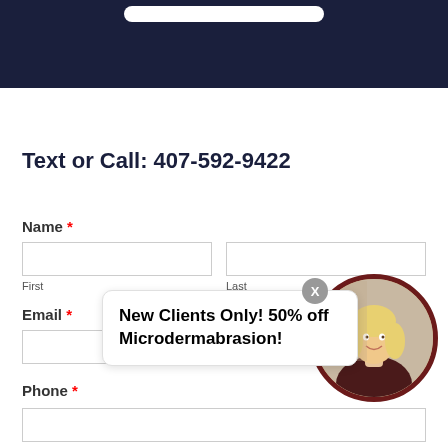[Figure (screenshot): Dark navy header banner at top of webpage]
Text or Call: 407-592-9422
Name *
First
Last
Email *
New Clients Only! 50% off Microdermabrasion!
[Figure (photo): Circular framed photo of a blonde woman smiling, with dark red/maroon border]
Phone *